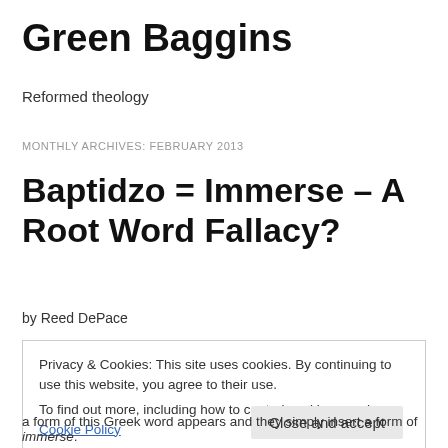Green Baggins
Reformed theology
MONTHLY ARCHIVES: FEBRUARY 2013
Baptidzo = Immerse – A Root Word Fallacy?
by Reed DePace
Privacy & Cookies: This site uses cookies. By continuing to use this website, you agree to their use.
To find out more, including how to control cookies, see here: Cookie Policy
Close and accept
a form of this Greek word appears and they simply insert a form of immerse.